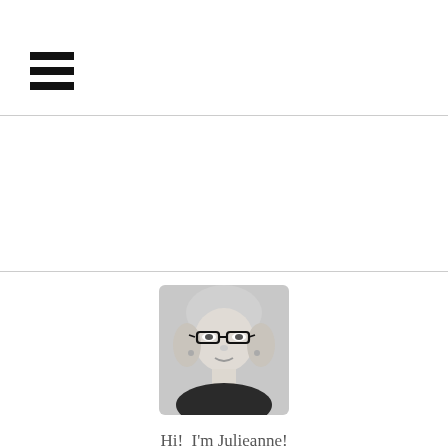☰ (hamburger menu icon)
[Figure (photo): Black and white portrait photo of a woman with glasses and light hair, smiling slightly, wearing a dark top]
Hi!  I'm Julieanne!
You'll find me in the kitchen